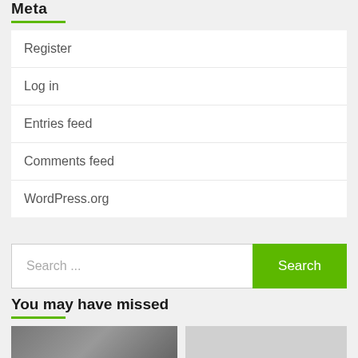Meta
Register
Log in
Entries feed
Comments feed
WordPress.org
Search ...
You may have missed
[Figure (photo): Thumbnail image showing text starting with 'COND']
[Figure (photo): Light gray thumbnail with back-to-top arrow button in green]